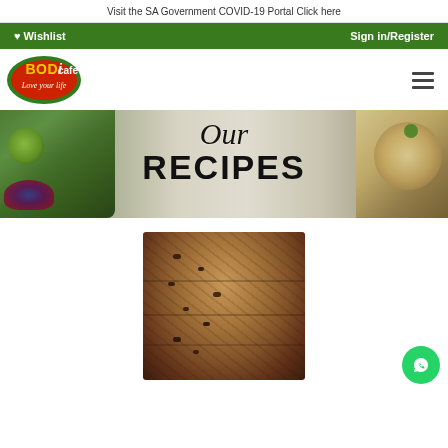Visit the SA Government COVID-19 Portal Click here
♥ Wishlist    Sign in/Register
[Figure (logo): BODi cafe Love your life logo — red oval with green border, yellow and white text]
[Figure (photo): Banner image showing Our RECIPES heading over food photos including salad, berries, pasta dishes]
[Figure (photo): Stack of oat chocolate chip cookies, close-up photo]
[Figure (other): WhatsApp contact button, green circle with phone/chat icon]